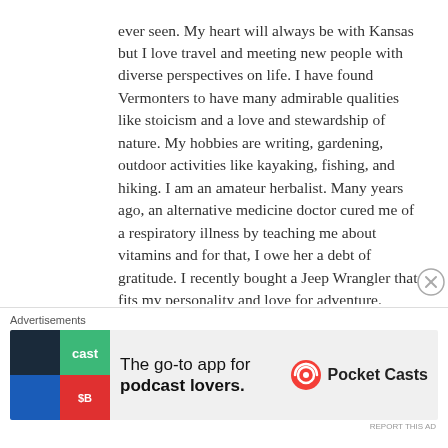ever seen. My heart will always be with Kansas but I love travel and meeting new people with diverse perspectives on life. I have found Vermonters to have many admirable qualities like stoicism and a love and stewardship of nature. My hobbies are writing, gardening, outdoor activities like kayaking, fishing, and hiking. I am an amateur herbalist. Many years ago, an alternative medicine doctor cured me of a respiratory illness by teaching me about vitamins and for that, I owe her a debt of gratitude. I recently bought a Jeep Wrangler that fits my personality and love for adventure. Associated with the military in my younger years, I have lived in Israel, Germany, and Virginia as well - all of which I loved in different ways. I thoroughly believe in the military spouse phrase, "bloom where you are planted" and endeavor to carry a positive optimism
Advertisements
[Figure (other): Advertisement banner for Pocket Casts app with colorful logo tiles on left (teal/green, blue/red) and text 'The go-to app for podcast lovers.' with Pocket Casts logo on right]